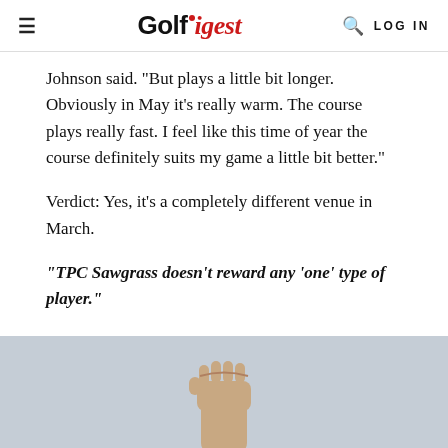Golf Digest | LOG IN
Johnson said. "But plays a little bit longer. Obviously in May it's really warm. The course plays really fast. I feel like this time of year the course definitely suits my game a little bit better."
Verdict: Yes, it's a completely different venue in March.
"TPC Sawgrass doesn't reward any 'one' type of player."
[Figure (photo): A raised fist against a light gray background, with only the lower arm and fist visible at the bottom of the image.]